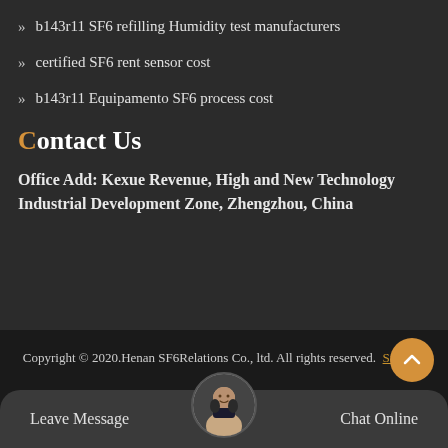b143r11 SF6 refilling Humidity test manufacturers
certified SF6 rent sensor cost
b143r11 Equipamento SF6 process cost
Contact Us
Office Add: Kexue Revenue, High and New Technology Industrial Development Zone, Zhengzhou, China
Copyright © 2020.Henan SF6Relations Co., ltd. All rights reserved. Sitemap
Leave Message
Chat Online